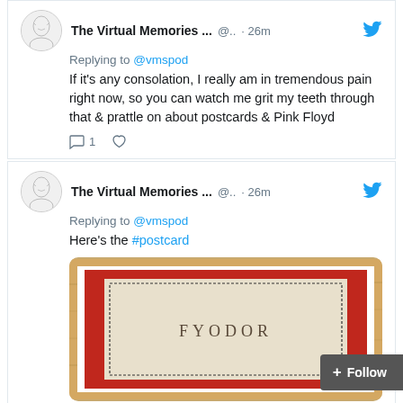[Figure (screenshot): Tweet from The Virtual Memories ... @.. · 26m replying to @vmspod: If it's any consolation, I really am in tremendous pain right now, so you can watch me grit my teeth through that & prattle on about postcards & Pink Floyd. 1 reply, 1 like.]
[Figure (screenshot): Tweet from The Virtual Memories ... @.. · 26m replying to @vmspod: Here's the #postcard. Image shows a red book or postcard with 'FYODOR' text on a wooden background.]
CONTRIBUTE
Support The Virtual Memories Show through a m